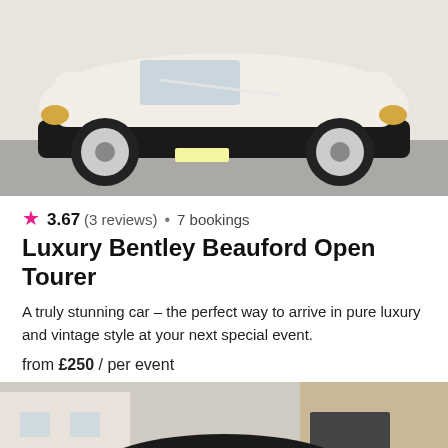[Figure (photo): Vintage cream/white open-top classic car (Beauford Open Tourer) parked on a street, viewed from the side, with white ribbon decoration]
3.67 (3 reviews) • 7 bookings
Luxury Bentley Beauford Open Tourer
A truly stunning car – the perfect way to arrive in pure luxury and vintage style at your next special event.
from £250 / per event
[Figure (photo): Black Bentley Flying Spur luxury sedan decorated with white ribbons and a white bow, parked in front of a building]